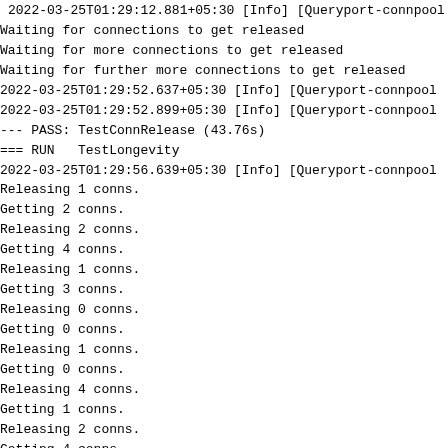2022-03-25T01:29:12.881+05:30 [Info] [Queryport-connpool
Waiting for connections to get released
Waiting for more connections to get released
Waiting for further more connections to get released
2022-03-25T01:29:52.637+05:30 [Info] [Queryport-connpool
2022-03-25T01:29:52.899+05:30 [Info] [Queryport-connpool
--- PASS: TestConnRelease (43.76s)
=== RUN   TestLongevity
2022-03-25T01:29:56.639+05:30 [Info] [Queryport-connpool
Releasing 1 conns.
Getting 2 conns.
Releasing 2 conns.
Getting 4 conns.
Releasing 1 conns.
Getting 3 conns.
Releasing 0 conns.
Getting 0 conns.
Releasing 1 conns.
Getting 0 conns.
Releasing 4 conns.
Getting 1 conns.
Releasing 2 conns.
Getting 4 conns.
Releasing 3 conns.
Getting 4 conns.
Releasing 1 conns.
Getting 0 conns.
Releasing 2 conns.
Getting 1 conns.
Releasing 0 conns.
Getting 1 conns.